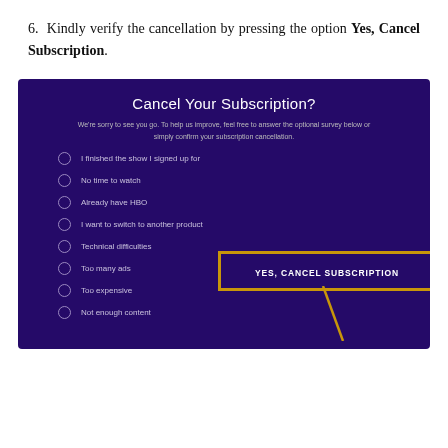6. Kindly verify the cancellation by pressing the option Yes, Cancel Subscription.
[Figure (screenshot): Screenshot of a dark purple 'Cancel Your Subscription?' dialog with radio button options (I finished the show I signed up for, No time to watch, Already have HBO, I want to switch to another product, Technical difficulties, Too many ads, Too expensive, Not enough content) and a highlighted callout box labeled 'YES, CANCEL SUBSCRIPTION' with a yellow arrow pointing to a button.]